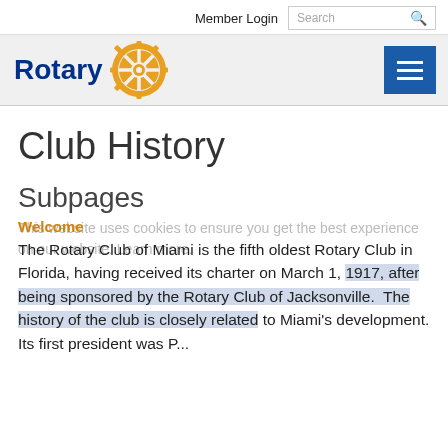Member Login
Search
[Figure (logo): Rotary International logo: blue wordmark 'Rotary' with golden gear/wheel emblem]
Club History
Subpages
Welcome
This website uses cookies to ensure you get the best experience on our website. Learn more.
The Rotary Club of Miami is the fifth oldest Rotary Club in Florida, having received its charter on March 1, 1917, after being sponsored by the Rotary Club of Jacksonville.  The history of the club is closely related to Miami's development. Its first president was P...